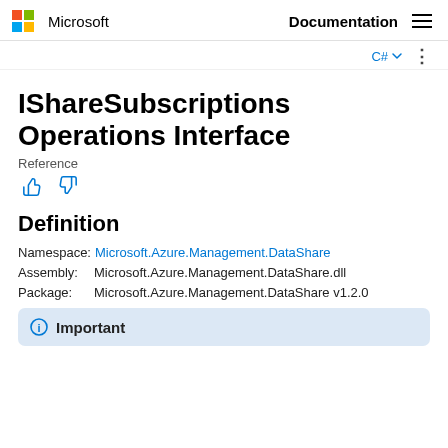Microsoft  Documentation
C#
IShareSubscriptions Operations Interface
Reference
Definition
Namespace:  Microsoft.Azure.Management.DataShare
Assembly:  Microsoft.Azure.Management.DataShare.dll
Package:  Microsoft.Azure.Management.DataShare v1.2.0
Important